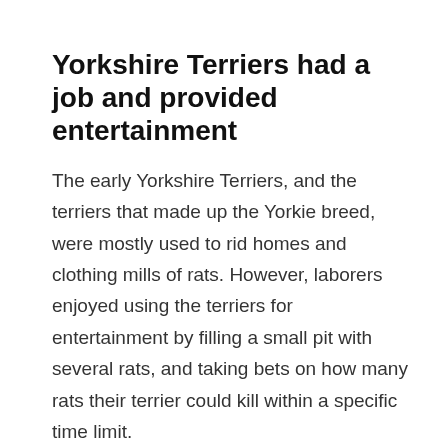Yorkshire Terriers had a job and provided entertainment
The early Yorkshire Terriers, and the terriers that made up the Yorkie breed, were mostly used to rid homes and clothing mills of rats. However, laborers enjoyed using the terriers for entertainment by filling a small pit with several rats, and taking bets on how many rats their terrier could kill within a specific time limit.
In 1859 the very first dog show was held